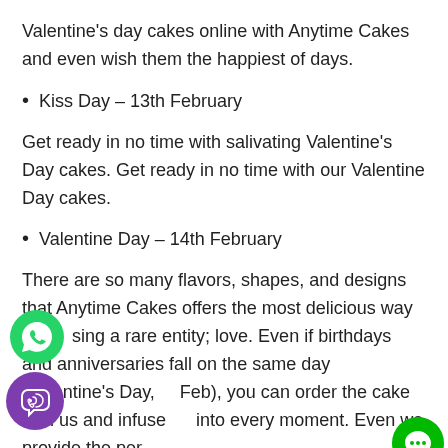Valentine's day cakes online with Anytime Cakes and even wish them the happiest of days.
Kiss Day – 13th February
Get ready in no time with salivating Valentine's Day cakes. Get ready in no time with our Valentine Day cakes.
Valentine Day – 14th February
There are so many flavors, shapes, and designs that Anytime Cakes offers the most delicious way of essing a rare entity; love. Even if birthdays and anniversaries fall on the same day (Valentine's Day, Feb), you can order the cake with us and infuse into every moment. Even we provide the per
[Figure (logo): WhatsApp green icon]
[Figure (logo): Viber purple icon]
[Figure (logo): Green chat/message icon]